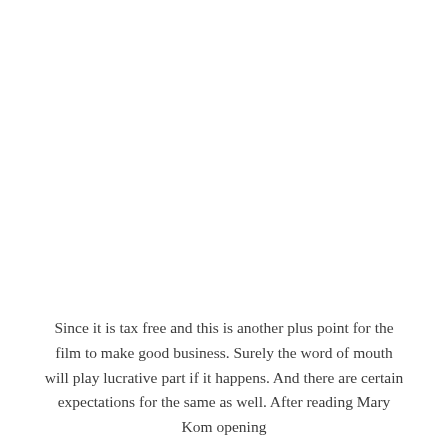Since it is tax free and this is another plus point for the film to make good business. Surely the word of mouth will play lucrative part if it happens. And there are certain expectations for the same as well. After reading Mary Kom opening